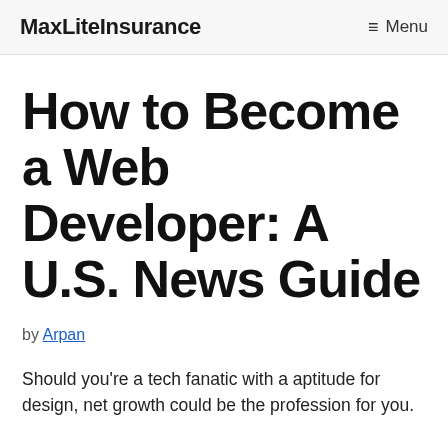MaxLiteInsurance   ≡ Menu
How to Become a Web Developer: A U.S. News Guide
by Arpan
Should you're a tech fanatic with a aptitude for design, net growth could be the profession for you.